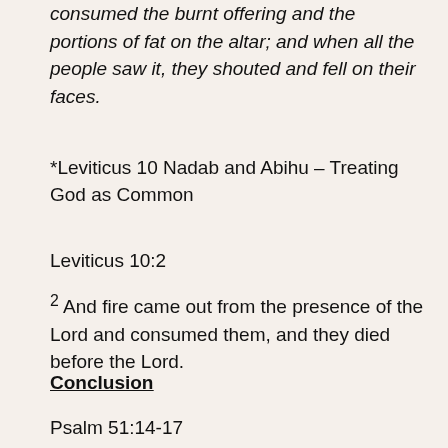Then fire came out from before the Lord and consumed the burnt offering and the portions of fat on the altar; and when all the people saw it, they shouted and fell on their faces.
*Leviticus 10 Nadab and Abihu – Treating God as Common
Leviticus 10:2
2 And fire came out from the presence of the Lord and consumed them, and they died before the Lord.
Conclusion
Psalm 51:14-17